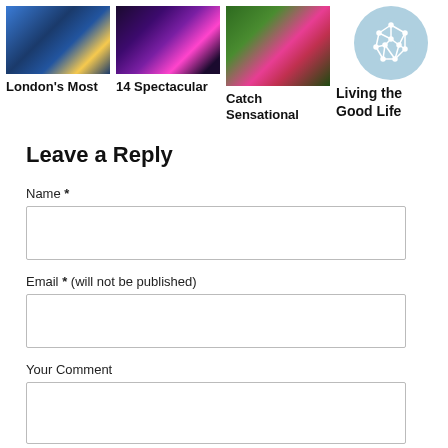[Figure (photo): Ice skating rink at night with Christmas lights]
London's Most
[Figure (photo): Fireworks display at night over water with purple and pink lights]
14 Spectacular
[Figure (photo): Pink flowers with green leaves]
Catch Sensational
[Figure (logo): Circular light blue logo with white geometric polyhedron/network design]
Living the Good Life
Leave a Reply
Name *
Email * (will not be published)
Your Comment